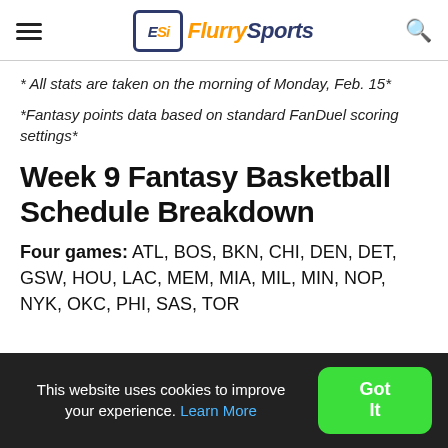Flurry Sports
* All stats are taken on the morning of Monday, Feb. 15*
*Fantasy points data based on standard FanDuel scoring settings*
Week 9 Fantasy Basketball Schedule Breakdown
Four games: ATL, BOS, BKN, CHI, DEN, DET, GSW, HOU, LAC, MEM, MIA, MIL, MIN, NOP, NYK, OKC, PHI, SAS, TOR
This website uses cookies to improve your experience. Learn More